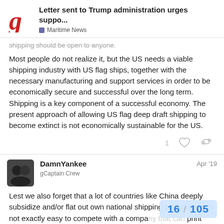Letter sent to Trump administration urges suppo... | Maritime News
shipping should be open to anyone.
Most people do not realize it, but the US needs a viable shipping industry with US flag ships, together with the necessary manufacturing and support services in order to be economically secure and successful over the long term. Shipping is a key component of a successful economy. The present approach of allowing US flag deep draft shipping to become extinct is not economically sustainable for the US.
1 ♡ 🔗
DamnYankee Apr '19
gCaptain Crew
Lest we also forget that a lot of countries like China deeply subsidize and/or flat out own national shipping companies. It's not exactly easy to compete with a company that can print money at will. Just look at the recent COSCO... China's interest a...
16 / 105